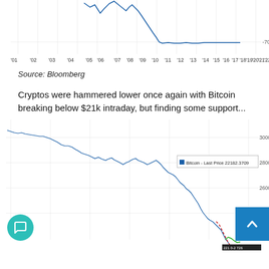[Figure (continuous-plot): Top portion of a line chart showing historical data from '01 to '22, with x-axis labels '01 through '22 and a value of -70 visible on the right axis. A peak is visible around '08-'11 era.]
Source: Bloomberg
Cryptos were hammered lower once again with Bitcoin breaking below $21k intraday, but finding some support...
[Figure (continuous-plot): Bitcoin price line chart showing a declining trend. Legend shows 'Bitcoin - Last Price 22182.3709'. Y-axis shows values 30000, 28000, 26000, 24000. The price has fallen steeply toward the right side with red dashed and green lines visible near the bottom right.]